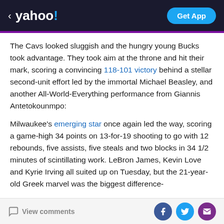< yahoo!  Get App
The Cavs looked sluggish and the hungry young Bucks took advantage. They took aim at the throne and hit their mark, scoring a convincing 118-101 victory behind a stellar second-unit effort led by the immortal Michael Beasley, and another All-World-Everything performance from Giannis Antetokounmpo:
Milwaukee's emerging star once again led the way, scoring a game-high 34 points on 13-for-19 shooting to go with 12 rebounds, five assists, five steals and two blocks in 34 1/2 minutes of scintillating work. LeBron James, Kevin Love and Kyrie Irving all suited up on Tuesday, but the 21-year-old Greek marvel was the biggest difference-
View comments